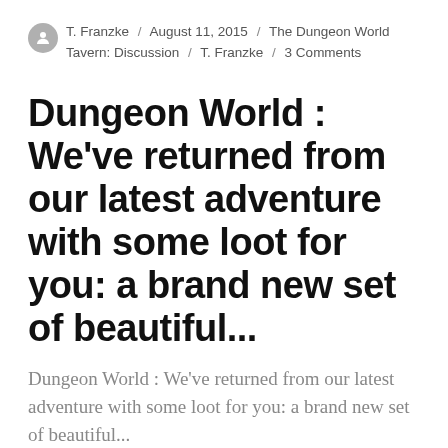T. Franzke / August 11, 2015 / The Dungeon World Tavern: Discussion / T. Franzke / 3 Comments
Dungeon World : We've returned from our latest adventure with some loot for you: a brand new set of beautiful...
Dungeon World : We've returned from our latest adventure with some loot for you: a brand new set of beautiful...
Dungeon World : We've returned from our latest adventure with some loot for